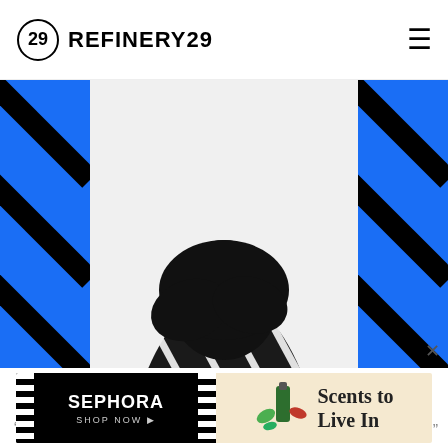REFINERY29
[Figure (photo): Fashion editorial photo of a person wrapped entirely in a dramatic black and white diagonal striped garment, with a green floral/tropical accent piece at the waist. The figure is photographed against a white wall with a grey floor. On both sides of the photo are vertical blue panels with diagonal black stripes, creating a graphic framing effect.]
[Figure (screenshot): Sephora advertisement banner: left half black background with white film-strip style borders reads 'SEPHORA SHOP NOW', right half beige/tan background shows a green perfume bottle and leaf motifs with text 'Scents to Live In']